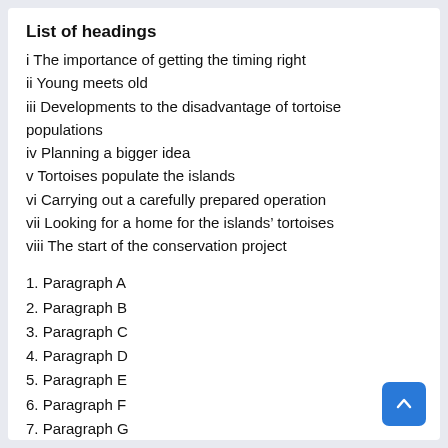List of headings
i The importance of getting the timing right
ii Young meets old
iii Developments to the disadvantage of tortoise populations
iv Planning a bigger idea
v Tortoises populate the islands
vi Carrying out a carefully prepared operation
vii Looking for a home for the islands’ tortoises
viii The start of the conservation project
1. Paragraph A
2. Paragraph B
3. Paragraph C
4. Paragraph D
5. Paragraph E
6. Paragraph F
7. Paragraph G